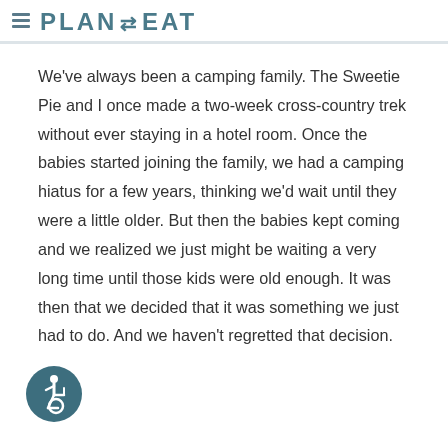PLAN TO EAT
We've always been a camping family. The Sweetie Pie and I once made a two-week cross-country trek without ever staying in a hotel room. Once the babies started joining the family, we had a camping hiatus for a few years, thinking we'd wait until they were a little older. But then the babies kept coming and we realized we just might be waiting a very long time until those kids were old enough. It was then that we decided that it was something we just had to do. And we haven't regretted that decision.
[Figure (illustration): Accessibility icon button (wheelchair symbol) in a teal circle, bottom-left corner]